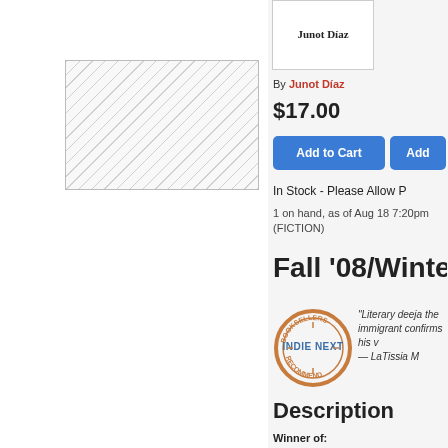[Figure (illustration): Hatched placeholder area representing book cover image on the left panel]
[Figure (photo): Book cover thumbnail showing author name Junot Diaz]
By Junot Díaz
$17.00
Add to Cart
Add
In Stock - Please Allow P
1 on hand, as of Aug 18 7:20pm (FICTION)
Fall '08/Winter '0
[Figure (logo): Booksellers Indie Next Recommend badge/seal]
"Literary deeja the immigrant confirms his v — LaTissia M
Description
Winner of:
The Pulitzer Prize